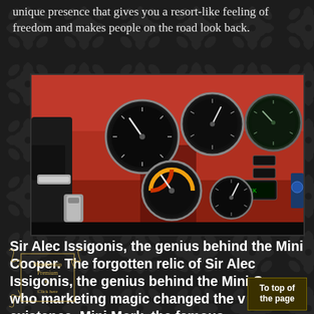unique presence that gives you a resort-like feeling of freedom and makes people on the road look back.
[Figure (photo): Close-up photo of a classic Mini Cooper's red dashboard with multiple round chrome-rimmed gauges and instruments.]
Sir Alec Issigonis, the genius behind the Mini Cooper. The forgotten relic of Sir Alec Issigonis, the genius behind the Mini Cooper, who marketing magic changed the v of existence. Mini Mork. the famous
Membership Premium Click here
To top of the page